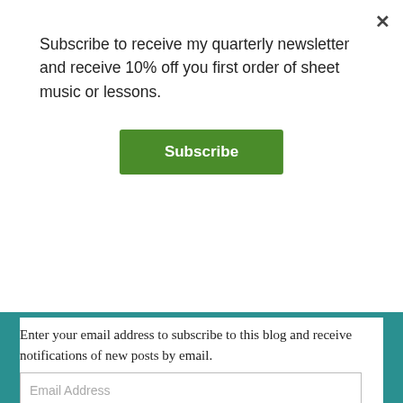Subscribe to receive my quarterly newsletter and receive 10% off you first order of sheet music or lessons.
Subscribe
Enter your email address to subscribe to this blog and receive notifications of new posts by email.
Email Address
SUBSCRIBE
Join 205 other subscribers
Search